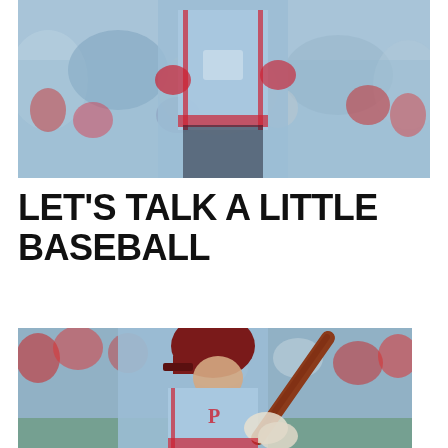[Figure (photo): A Philadelphia Phillies baseball player in a light blue uniform holding or catching, with a crowd of spectators visible in the blurred background.]
LET'S TALK A LITTLE BASEBALL
[Figure (photo): A Philadelphia Phillies batter in a light blue uniform and dark red helmet watching a ball after a swing, holding a dark red bat, with a blurred crowd in the background.]